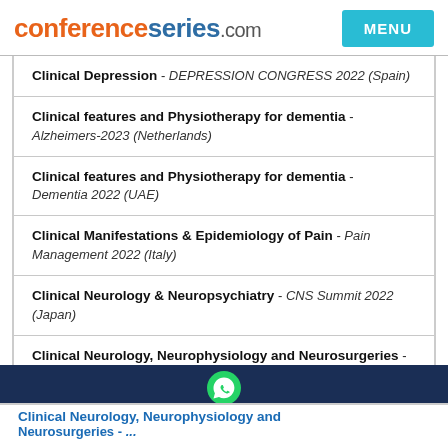conferenceseries.com MENU
Clinical Depression - DEPRESSION CONGRESS 2022 (Spain)
Clinical features and Physiotherapy for dementia - Alzheimers-2023 (Netherlands)
Clinical features and Physiotherapy for dementia - Dementia 2022 (UAE)
Clinical Manifestations & Epidemiology of Pain - Pain Management 2022 (Italy)
Clinical Neurology & Neuropsychiatry - CNS Summit 2022 (Japan)
Clinical Neurology, Neurophysiology and Neurosurgeries - Alzheimers-2023 (Netherlands)
Clinical Neurology, Neurophysiology and Neurosurgeries - ...